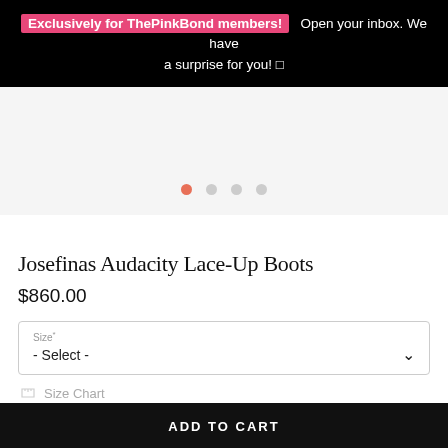Exclusively for ThePinkBond members! Open your inbox. We have a surprise for you! □
[Figure (other): Product image carousel placeholder area with light gray background and four navigation dots (first dot active/salmon color, remaining three gray)]
Josefinas Audacity Lace-Up Boots
$860.00
Size* - Select -
Size Chart
ADD TO CART